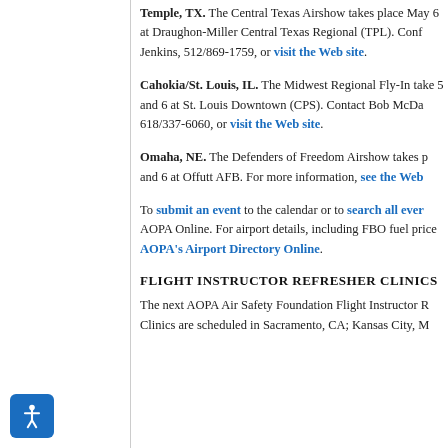Temple, TX. The Central Texas Airshow takes place May 6 at Draughon-Miller Central Texas Regional (TPL). Conf Jenkins, 512/869-1759, or visit the Web site.
Cahokia/St. Louis, IL. The Midwest Regional Fly-In take 5 and 6 at St. Louis Downtown (CPS). Contact Bob McDa 618/337-6060, or visit the Web site.
Omaha, NE. The Defenders of Freedom Airshow takes p and 6 at Offutt AFB. For more information, see the Web
To submit an event to the calendar or to search all ever AOPA Online. For airport details, including FBO fuel price AOPA's Airport Directory Online.
FLIGHT INSTRUCTOR REFRESHER CLINICS
The next AOPA Air Safety Foundation Flight Instructor R Clinics are scheduled in Sacramento, CA; Kansas City, M